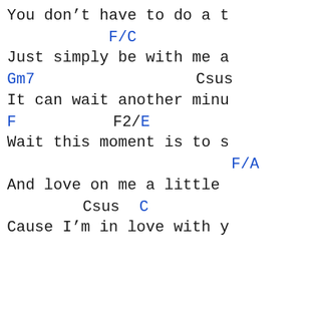You don't have to do a t
F/C
Just simply be with me a
Gm7                              Csus
It can wait another minu
F              F2/E
Wait this moment is to s
F/A
And love on me a little
Csus      C
Cause I'm in love with y